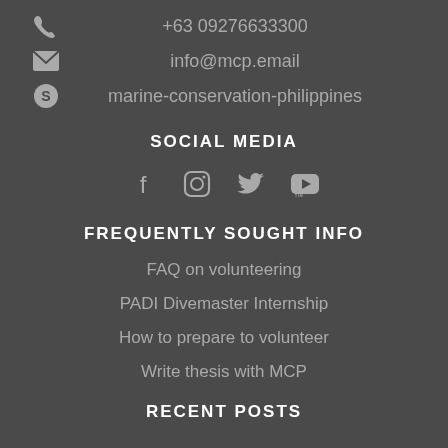+63 09276633300
info@mcp.email
marine-conservation-philippines
SOCIAL MEDIA
[Figure (infographic): Social media icons: Facebook, Instagram, Twitter, YouTube]
FREQUENTLY SOUGHT INFO
FAQ on volunteering
PADI Divemaster Internship
How to prepare to volunteer
Write thesis with MCP
RECENT POSTS